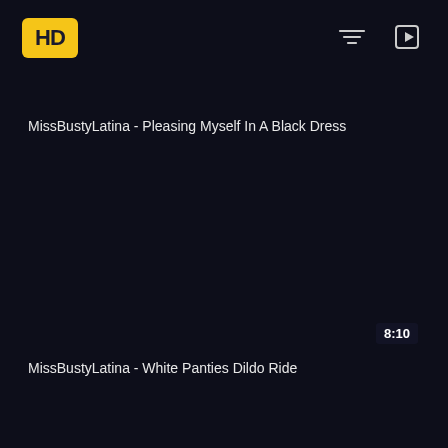[Figure (logo): HD logo badge in yellow with dark letters]
[Figure (other): Filter icon (horizontal lines) in top right area]
[Figure (other): Playlist/queue icon in top right corner]
MissBustyLatina - Pleasing Myself In A Black Dress
8:10
MissBustyLatina - White Panties Dildo Ride